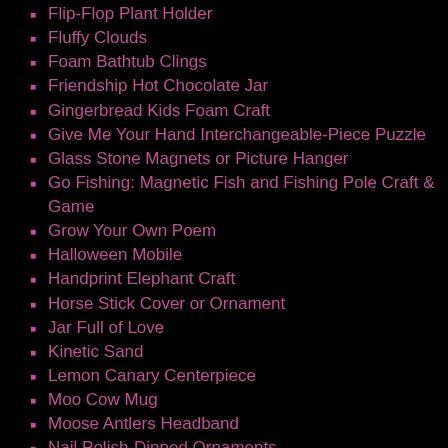Flip-Flop Plant Holder
Fluffy Clouds
Foam Bathtub Clings
Friendship Hot Chocolate Jar
Gingerbread Kids Foam Craft
Give Me Your Hand Interchangeable-Piece Puzzle
Glass Stone Magnets or Picture Hanger
Go Fishing: Magnetic Fish and Fishing Pole Craft & Game
Grow Your Own Poem
Halloween Mobile
Handprint Elephant Craft
Horse Stick Cover or Ornament
Jar Full of Love
Kinetic Sand
Lemon Canary Centerpiece
Moo Cow Mug
Moose Antlers Headband
Nail Polish-Dipped Ornaments
Neck Warmer or Pillow
Paper Plate Tree
Penguins Spice-Bottle Craft
Pet Paw Magnet
Pocket Poem Carrier
Poetry Plant Craft